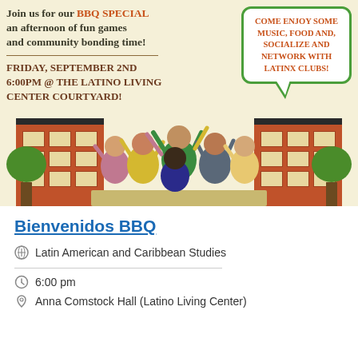[Figure (illustration): Event flyer with beige background. Left side has bold text: 'Join us for our BBQ SPECIAL an afternoon of fun games and community bonding time!' with a horizontal rule, then 'FRIDAY, SEPTEMBER 2ND 6:00PM @ THE LATINO LIVING CENTER COURTYARD!' in dark red/brown. Right side has a green speech bubble with orange text: 'COME ENJOY SOME MUSIC, FOOD AND, SOCIALIZE AND NETWORK WITH LATINX CLUBS!' Bottom portion shows illustrated buildings (brick red) on left and right with a crowd of diverse celebrating people in the center, and green trees on the sides.]
Bienvenidos BBQ
Latin American and Caribbean Studies
6:00 pm
Anna Comstock Hall (Latino Living Center)